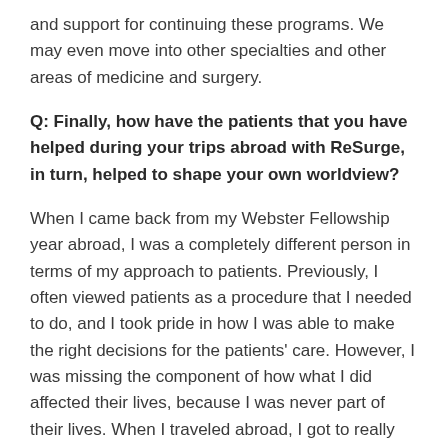and support for continuing these programs. We may even move into other specialties and other areas of medicine and surgery.
Q: Finally, how have the patients that you have helped during your trips abroad with ReSurge, in turn, helped to shape your own worldview?
When I came back from my Webster Fellowship year abroad, I was a completely different person in terms of my approach to patients. Previously, I often viewed patients as a procedure that I needed to do, and I took pride in how I was able to make the right decisions for the patients' care. However, I was missing the component of how what I did affected their lives, because I was never part of their lives. When I traveled abroad, I got to really see the patients, their families,